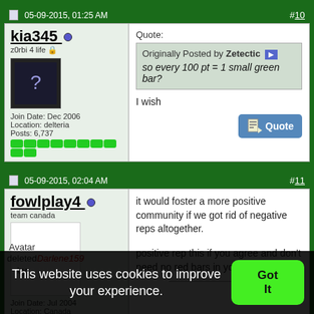05-09-2015, 01:25 AM  #10
kia345
z0rbi 4 life
Join Date: Dec 2006
Location: delteria
Posts: 6,737
Quote:
Originally Posted by Zetectic
so every 100 pt = 1 small green bar?

I wish
05-09-2015, 02:04 AM  #11
fowlplay4
team canada
Avatar deleted by Darlene159
Join Date: Jul 2004
Location: Canada
it would foster a more positive community if we got rid of negative reps altogether.

positive rep this if you agree and don't need no red bars in your life.
This website uses cookies to improve your experience.